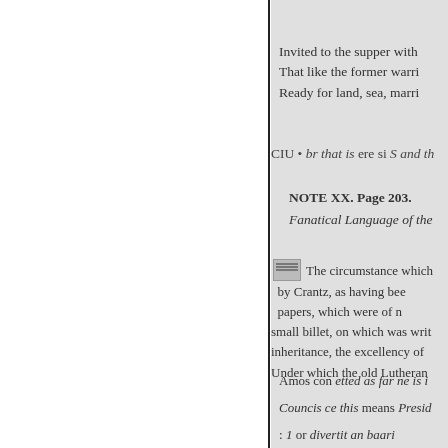Invited to the supper with
That like the former warri
Ready for land, sea, marri
CIU • br that is ere si S and th
NOTE XX. Page 203.
Fanatical Language of the
The circumstance which by Crantz, as having bee papers, which were of n small billet, on which was writ inheritance, the excellency of Under which the old Lutheran
Amos con etted as far ne is i
Councis ce this means Presid
: 1 or divertit an baari